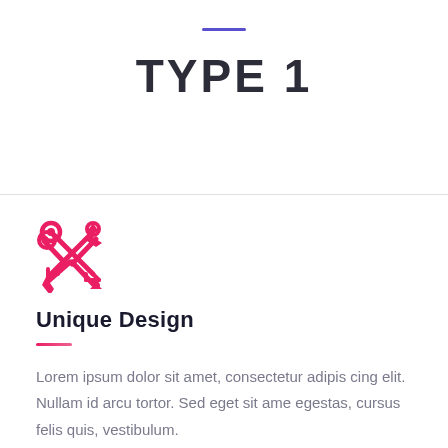TYPE 1
[Figure (illustration): Pink/red crossed tools icon (wrench and screwdriver/pen crossed)]
Unique Design
Lorem ipsum dolor sit amet, consectetur adipis cing elit. Nullam id arcu tortor. Sed eget sit ame egestas, cursus felis quis, vestibulum.